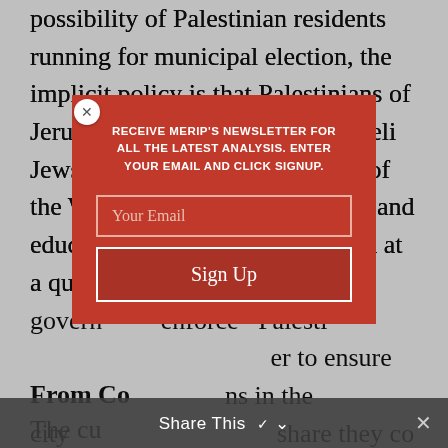possibility of Palestinian residents running for municipal election, the implicit policy is that Palestinians of Jerusalem are different from Israeli Jews and remain politically part of the West Bank hinterland. Social and educational services are provided at a qualitatively and quantit[atively lower level than those of the] govern[ment. Building permits are difficult to] enforce[, and house demolitions threaten] Palesti[nian residents who] [try] [hard] er to ensure [that they can maintain their positio]ns in the city[. Many Palestinians are reluctant to] share they co[nsider a]
From Co[nquest...]
The cu[rrent situation is also shaped by] constra[ints that] felt.
[Figure (other): Newsletter signup modal overlay with red background. Heading: 'RECEIVE MERIP'S NEWSLETTER FOR ALL THE LATEST ANALYSIS. ENTER YOUR EMAIL AND CLICK SIGNUP.' Email input field with placeholder 'Your Email'. Sign Up button. Close (x) button in top-left corner.]
Share This ∨